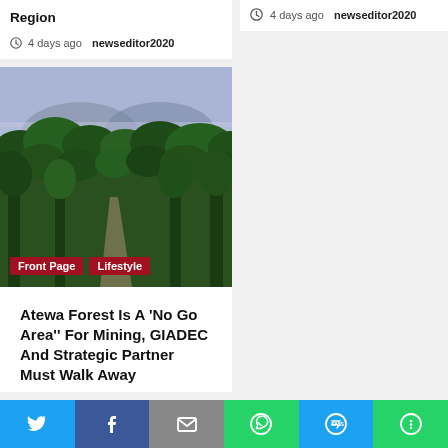Region
4 days ago  newseditor2020
4 days ago  newseditor2020
[Figure (photo): Aerial view of dense tropical forest with a winding path and misty mountains in the background. Tags: Front Page, Lifestyle]
Atewa Forest Is A 'No Go Area'' For Mining, GIADEC And Strategic Partner Must Walk Away
[Figure (other): Social media share bar with Twitter, Facebook, Email, WhatsApp, SMS, and More buttons]